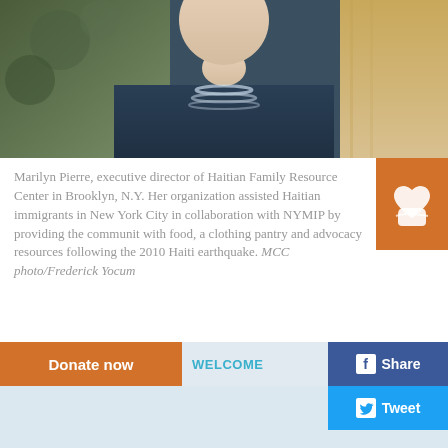[Figure (photo): Photo of Marilyn Pierre, a woman wearing a dark blue top with a beaded necklace, partially visible from chest up. Background shows green foliage on the left and a tan/beige curtain on the right.]
Marilyn Pierre, executive director of Haitian Family Resource Center in Brooklyn, N.Y. Her organization assisted Haitian immigrants in New York City in collaboration with NYMIP by providing the community with food, a clothing pantry and advocacy resources following the 2010 Haiti earthquake. MCC photo/Frederick Yocum
Marilyn Pierre is the executive director of the Haitian Family Resource Center (HFRC) in Brooklyn, N.Y. Pierre says, “We came to know NYMIP after the earthquake that happened in Haiti in 2010. And since then, we have partnered with them in working with
Donate now   WELCOME   Share   Tweet